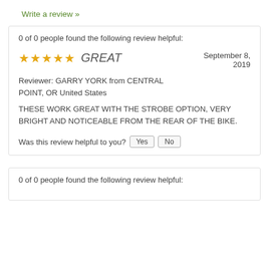Write a review »
0 of 0 people found the following review helpful:
★★★★★ GREAT — September 8, 2019
Reviewer: GARRY YORK from CENTRAL POINT, OR United States
THESE WORK GREAT WITH THE STROBE OPTION, VERY BRIGHT AND NOTICEABLE FROM THE REAR OF THE BIKE.
Was this review helpful to you? Yes No
0 of 0 people found the following review helpful: